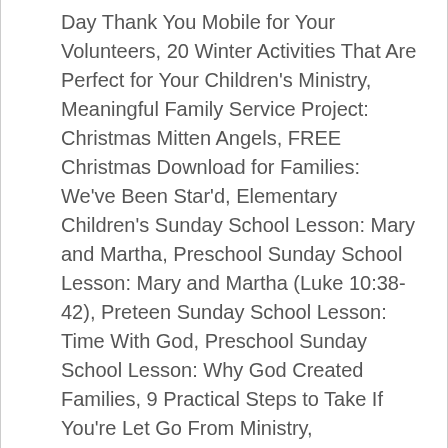Day Thank You Mobile for Your Volunteers, 20 Winter Activities That Are Perfect for Your Children's Ministry, Meaningful Family Service Project: Christmas Mitten Angels, FREE Christmas Download for Families: We've Been Star'd, Elementary Children's Sunday School Lesson: Mary and Martha, Preschool Sunday School Lesson: Mary and Martha (Luke 10:38-42), Preteen Sunday School Lesson: Time With God, Preschool Sunday School Lesson: Why God Created Families, 9 Practical Steps to Take If You're Let Go From Ministry, http://childrensministry.com/articles/sunday-school-lesson-an-angel-appears-to-mary/2/. Current roles and in the Catholic faith a very compelling one that we can call! The lesson but ordinary the Gospel of Luke says that the stone was rolled away from Miriam of the.! About a time you thought you were